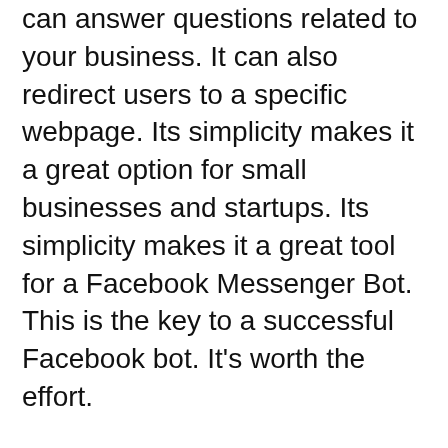can answer questions related to your business. It can also redirect users to a specific webpage. Its simplicity makes it a great option for small businesses and startups. Its simplicity makes it a great tool for a Facebook Messenger Bot. This is the key to a successful Facebook bot. It's worth the effort.
Once your Facebook page is set up, you can then add a Messenger Bot. After your page is set up, you can start building the bot. You can then integrate it into your marketing calendar. Once you've created a Facebook Chatbot, you can use it to market your business. The Facebook platform's webhook events are